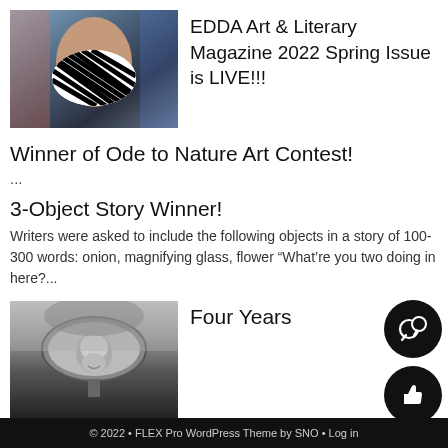[Figure (photo): Person wearing black and white striped mask, colorful artistic style]
EDDA Art & Literary Magazine 2022 Spring Issue is LIVE!!!
Winner of Ode to Nature Art Contest!
...
3-Object Story Winner!
Writers were asked to include the following objects in a story of 100-300 words: onion, magnifying glass, flower “What’re you two doing in here?...
[Figure (photo): Black and white photo of person reflected in car rear-view mirror]
Four Years
© 2022 • FLEX Pro WordPress Theme by SNO • Log in